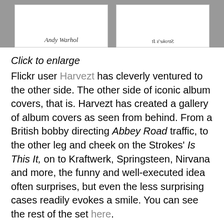[Figure (photo): Top portion showing two album cover images side by side on a gray background. Left card shows cursive text 'Andy Warhol', right card shows mirrored/reversed cursive text. Both cards are white rectangles partially visible at top of page.]
Click to enlarge
Flickr user Harvezt has cleverly ventured to the other side. The other side of iconic album covers, that is. Harvezt has created a gallery of album covers as seen from behind. From a British bobby directing Abbey Road traffic, to the other leg and cheek on the Strokes' Is This It, on to Kraftwerk, Springsteen, Nirvana and more, the funny and well-executed idea often surprises, but even the less surprising cases readily evokes a smile. You can see the rest of the set here.